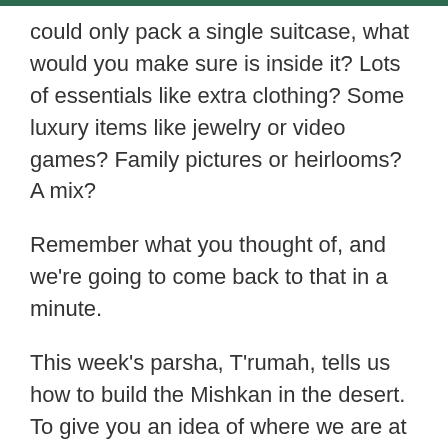could only pack a single suitcase, what would you make sure is inside it? Lots of essentials like extra clothing? Some luxury items like jewelry or video games? Family pictures or heirlooms? A mix?
Remember what you thought of, and we're going to come back to that in a minute.
This week's parsha, T'rumah, tells us how to build the Mishkan in the desert. To give you an idea of where we are at in the Torah, we're hanging out in the desert, having escaped from Egypt and just recently received the 10 commandments and a whole bunch of other guiding laws.  Now that we're here, G-d asks us for a place to dwell, where